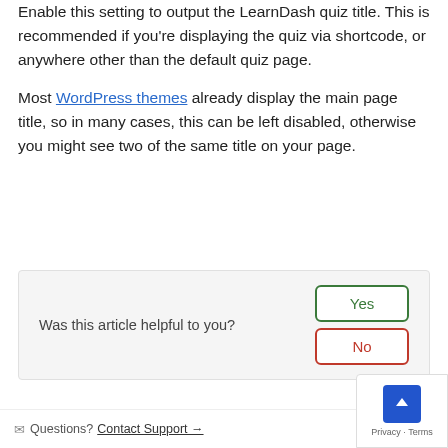Enable this setting to output the LearnDash quiz title. This is recommended if you're displaying the quiz via shortcode, or anywhere other than the default quiz page.
Most WordPress themes already display the main page title, so in many cases, this can be left disabled, otherwise you might see two of the same title on your page.
[Figure (other): Feedback widget with question 'Was this article helpful to you?' and Yes/No buttons]
✉ Questions? Contact Support →